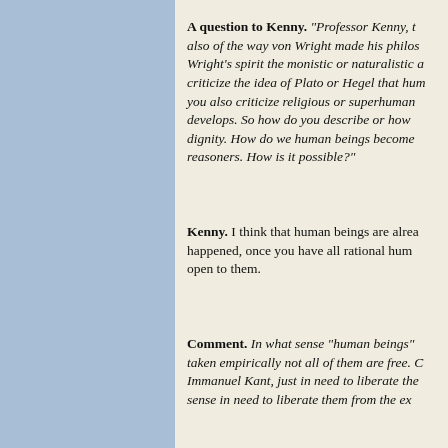A question to Kenny. "Professor Kenny, t also of the way von Wright made his philo... Wright's spirit the monistic or naturalistic a... criticize the idea of Plato or Hegel that hu... you also criticize religious or superhuman ... develops. So how do you describe or how ... dignity. How do we human beings become... reasoners. How is it possible?"
Kenny. I think that human beings are alrea... happened, once you have all rational hum... open to them.
Comment. In what sense "human beings"... taken empirically not all of them are free. C... Immanuel Kant, just in need to liberate the... sense in need to liberate them from the ex...